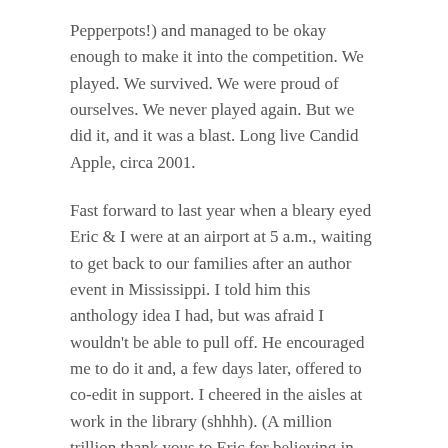Pepperpots!) and managed to be okay enough to make it into the competition. We played. We survived. We were proud of ourselves. We never played again. But we did it, and it was a blast. Long live Candid Apple, circa 2001.
Fast forward to last year when a bleary eyed Eric & I were at an airport at 5 a.m., waiting to get back to our families after an author event in Mississippi. I told him this anthology idea I had, but was afraid I wouldn't be able to pull off. He encouraged me to do it and, a few days later, offered to co-edit in support. I cheered in the aisles at work in the library (shhhh). (A million trillion thank yous to Eric for believing in me, and Dawn Frederick of Red Sofa Literary for believing in us and selling the book.)
Fast forward to a few days later when we started asking authors to jump in and…they did! Excitedly! It was then that I thought what we were doing might be….something.